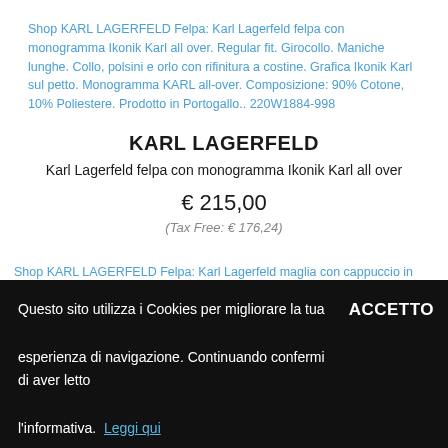[Figure (screenshot): Broken image placeholder for Karl Lagerfeld felpa product listing with blue link text description]
KARL LAGERFELD
Karl Lagerfeld felpa con monogramma Ikonik Karl all over
€ 215,00
(Tax Free: € 176,24)
[Figure (screenshot): Broken image placeholder for Karl Lagerfeld maglia con cappuccio product listing with blue link text]
Questo sito utilizza i Cookies per migliorare la tua esperienza di navigazione. Continuando confermi di aver letto l'informativa. Leggi qui ACCETTO